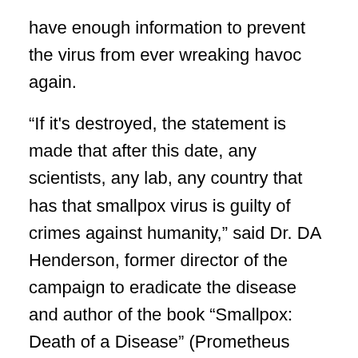have enough information to prevent the virus from ever wreaking havoc again.
“If it's destroyed, the statement is made that after this date, any scientists, any lab, any country that has that smallpox virus is guilty of crimes against humanity,” said Dr. DA Henderson, former director of the campaign to eradicate the disease and author of the book “Smallpox: Death of a Disease” (Prometheus Books, 2009).
Destruction of the remaining virus also would eliminate the possibility of accidental release. There is precedent for this; in 1978 an accidental release in a British lab resulted in one death.
Others, however, warn that labeling possession of the virus a crime against humanity will in no way deter